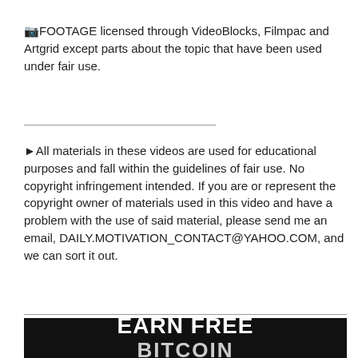🎞FOOTAGE licensed through VideoBlocks, Filmpac and Artgrid except parts about the topic that have been used under fair use.
►All materials in these videos are used for educational purposes and fall within the guidelines of fair use. No copyright infringement intended. If you are or represent the copyright owner of materials used in this video and have a problem with the use of said material, please send me an email, DAILY.MOTIVATION_CONTACT@YAHOO.COM, and we can sort it out.
[Figure (other): Dark banner with bold white text reading EARN FREE BITCOIN]